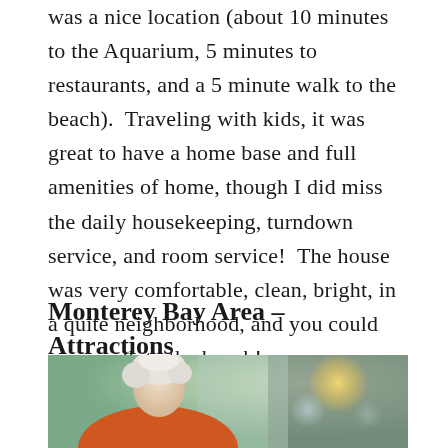was a nice location (about 10 minutes to the Aquarium, 5 minutes to restaurants, and a 5 minute walk to the beach).  Traveling with kids, it was great to have a home base and full amenities of home, though I did miss the daily housekeeping, turndown service, and room service!  The house was very comfortable, clean, bright, in a quite neighborhood, and you could even walk to the beach!
Monterey Bay Area – Attractions
[Figure (photo): A photo showing a person with light-colored hair wearing an orange top, partially visible, with blurred bokeh lights in the background.]